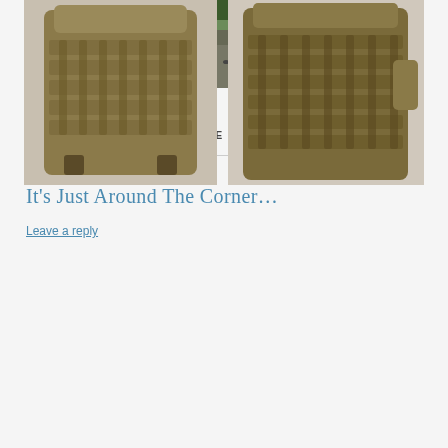[Figure (photo): Forest trail path with green vegetation on both sides and a large log on the right]
TAG ARCHIVES: SAWYER SQUEEZE
It’s Just Around The Corner…
Leave a reply
[Figure (photo): Tan/olive military-style backpack or tactical pack, front view showing MOLLE webbing]
[Figure (photo): Tan/olive military-style backpack or tactical pack, side/angled view showing MOLLE webbing]